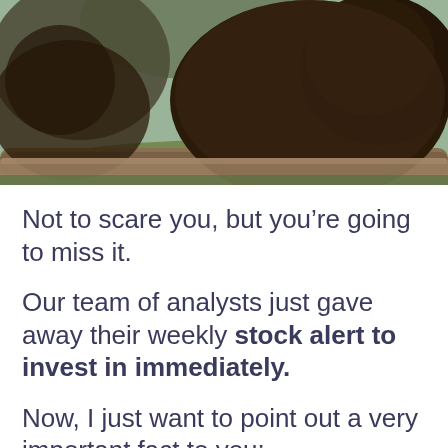[Figure (photo): Close-up photograph of a brown bear resting on or near a log, with blurred background of trees and greenery.]
Not to scare you, but you’re going to miss it.
Our team of analysts just gave away their weekly stock alert to invest in immediately.
Now, I just want to point out a very important fact to you:
This team has consistently taken money out of the market, any seasoned investor